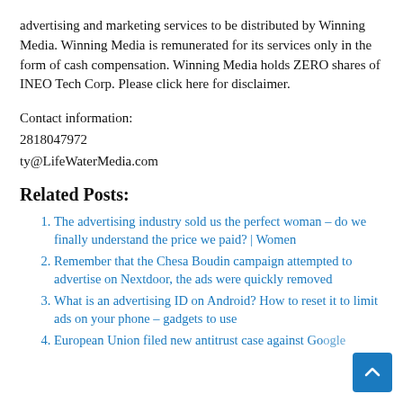advertising and marketing services to be distributed by Winning Media. Winning Media is remunerated for its services only in the form of cash compensation. Winning Media holds ZERO shares of INEO Tech Corp. Please click here for disclaimer.
Contact information:
2818047972
ty@LifeWaterMedia.com
Related Posts:
The advertising industry sold us the perfect woman – do we finally understand the price we paid? | Women
Remember that the Chesa Boudin campaign attempted to advertise on Nextdoor, the ads were quickly removed
What is an advertising ID on Android? How to reset it to limit ads on your phone – gadgets to use
European Union filed new antitrust case against Google